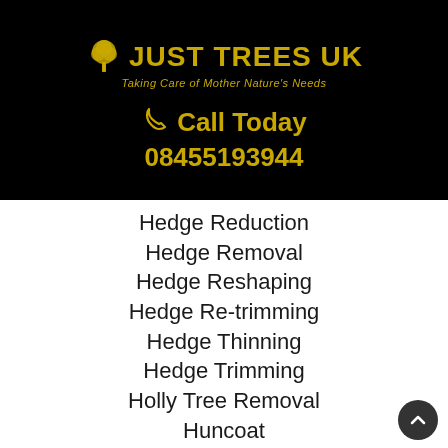[Figure (logo): Just Trees UK logo with a yellow stylized tree icon and text 'JUST TREES UK' with tagline 'Taking Care of Mother Nature's Needs' on black background]
Call Today
08455193944
Hedge Reduction
Hedge Removal
Hedge Reshaping
Hedge Re-trimming
Hedge Thinning
Hedge Trimming
Holly Tree Removal
Huncoat
Johnson Fold
Lady Bridge